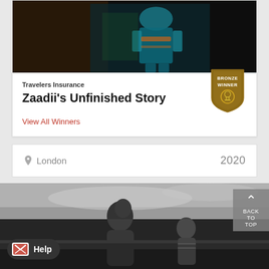[Figure (photo): Top portion of colorful robot/character artwork in warm and teal tones against dark background]
Travelers Insurance
Zaadii's Unfinished Story
[Figure (illustration): Bronze Winner badge/shield icon]
View All Winners
London   2020
[Figure (photo): Black and white photo of two African figures, one carrying a child on back, another child visible, overcast sky]
Help